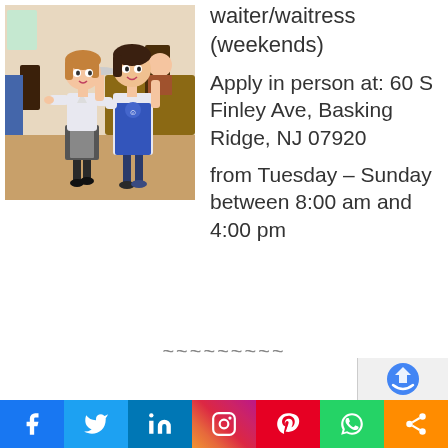[Figure (illustration): Cartoon/anime style illustration of a waitress and waiter standing in a restaurant setting. The waitress has brown hair, white blouse and black skirt with apron. The waiter has dark hair and wears a blue apron. Restaurant interior visible in background.]
waiter/waitress (weekends)
Apply in person at: 60 S Finley Ave, Basking Ridge, NJ 07920
from Tuesday – Sunday between 8:00 am and 4:00 pm
~~~~~~~~~
[Figure (other): CAPTCHA verification widget (reCAPTCHA) in bottom right corner]